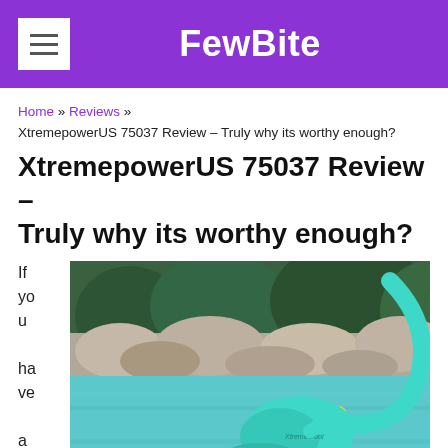FewBite
Home » Reviews » XtremepowerUS 75037 Review – Truly why its worthy enough?
XtremepowerUS 75037 Review – Truly why its worthy enough?
If you have a
[Figure (photo): Photo of a teal/turquoise automatic pool cleaner with a yellow connector ring and curved hose, submerged in a blue swimming pool with rock landscaping in the background.]